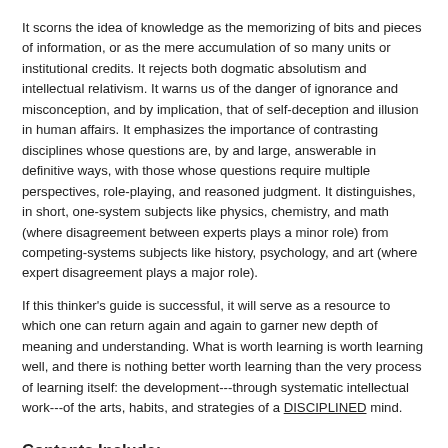It scorns the idea of knowledge as the memorizing of bits and pieces of information, or as the mere accumulation of so many units or institutional credits. It rejects both dogmatic absolutism and intellectual relativism. It warns us of the danger of ignorance and misconception, and by implication, that of self-deception and illusion in human affairs. It emphasizes the importance of contrasting disciplines whose questions are, by and large, answerable in definitive ways, with those whose questions require multiple perspectives, role-playing, and reasoned judgment. It distinguishes, in short, one-system subjects like physics, chemistry, and math (where disagreement between experts plays a minor role) from competing-systems subjects like history, psychology, and art (where expert disagreement plays a major role).
If this thinker's guide is successful, it will serve as a resource to which one can return again and again to garner new depth of meaning and understanding. What is worth learning is worth learning well, and there is nothing better worth learning than the very process of learning itself: the development---through systematic intellectual work---of the arts, habits, and strategies of a DISCIPLINED mind.
Contents Include:
Part I: Laying the Foundations
18 Ideas for Becoming a Master Student